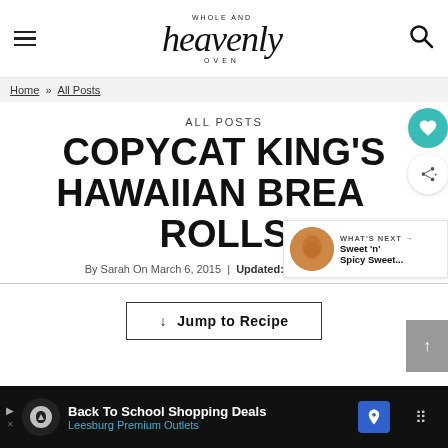Whole and Heavenly Oven — site header with hamburger menu and search icon
Home » All Posts
ALL POSTS
COPYCAT KING'S HAWAIIAN BREAD ROLLS
WHAT'S NEXT → Sweet 'n' Spicy Sweet...
By Sarah On March 6, 2015 | Updated: March 12, 2021
↓ Jump to Recipe
Back To School Shopping Deals Leesburg Premium Outlets